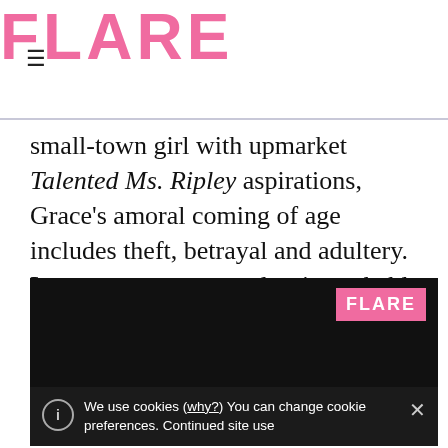FLARE
small-town girl with upmarket Talented Ms. Ripley aspirations, Grace's amoral coming of age includes theft, betrayal and adultery. Lusty, unrepentant and as improbable as a movie of the week, Unbecoming is a wicked weekend read.
[Figure (screenshot): Black video player block with FLARE logo badge in pink in top-right corner, and a cookie consent bar at the bottom reading: We use cookies (why?) You can change cookie preferences. Continued site use]